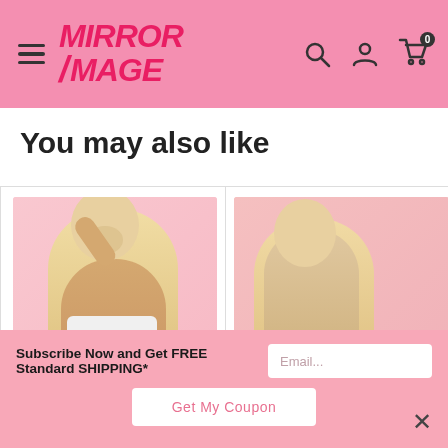Mirror Image — navigation header with hamburger menu, logo, search, account, and cart icons
You may also like
[Figure (photo): Product photo of a blonde female model wearing a white bandeau top, posed against a pink background (left product card)]
[Figure (photo): Product photo of a blonde female model in nude/beige outfit, posed against a pink background (right product card, partially visible)]
Subscribe Now and Get FREE Standard SHIPPING*
Email...
Get My Coupon